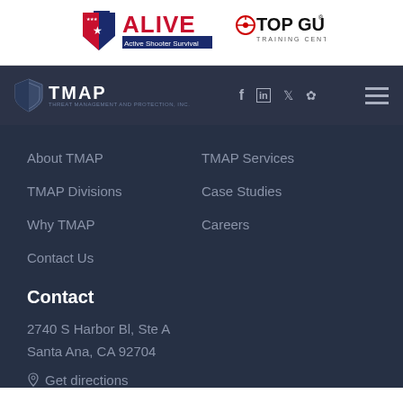[Figure (logo): ALIVE Active Shooter Survival logo and TOP GUN Training Centre logo in header]
[Figure (logo): TMAP logo in navigation bar with social icons (Facebook, LinkedIn, Twitter, Yelp) and hamburger menu]
About TMAP
TMAP Services
TMAP Divisions
Case Studies
Why TMAP
Careers
Contact Us
Contact
2740 S Harbor Bl, Ste A
Santa Ana, CA 92704
Get directions